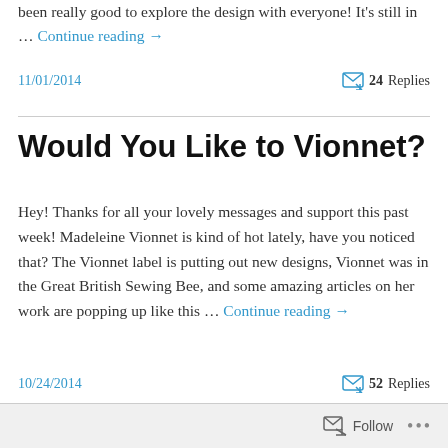been really good to explore the design with everyone! It's still in … Continue reading →
11/01/2014
💬 24 Replies
Would You Like to Vionnet?
Hey!  Thanks for all your lovely messages and support this past week! Madeleine Vionnet is kind of hot lately, have you noticed that?  The Vionnet label is putting out new designs, Vionnet was in the Great British Sewing Bee, and some amazing articles on her work are popping up like this … Continue reading →
10/24/2014
💬 52 Replies
Follow   •••